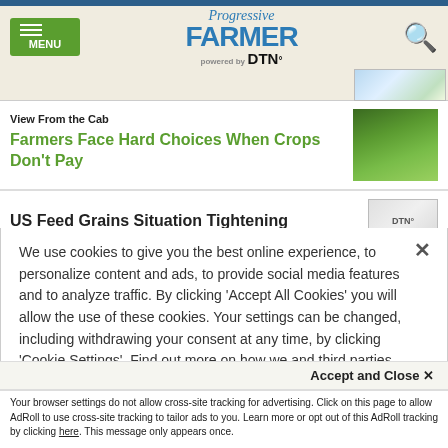Progressive Farmer powered by DTN
View From the Cab
Farmers Face Hard Choices When Crops Don't Pay
US Feed Grains Situation Tightening
We use cookies to give you the best online experience, to personalize content and ads, to provide social media features and to analyze traffic. By clicking 'Accept All Cookies' you will allow the use of these cookies. Your settings can be changed, including withdrawing your consent at any time, by clicking 'Cookie Settings'. Find out more on how we and third parties use cookies in our Cookie Policy
Accept and Close ×
Your browser settings do not allow cross-site tracking for advertising. Click on this page to allow AdRoll to use cross-site tracking to tailor ads to you. Learn more or opt out of this AdRoll tracking by clicking here. This message only appears once.